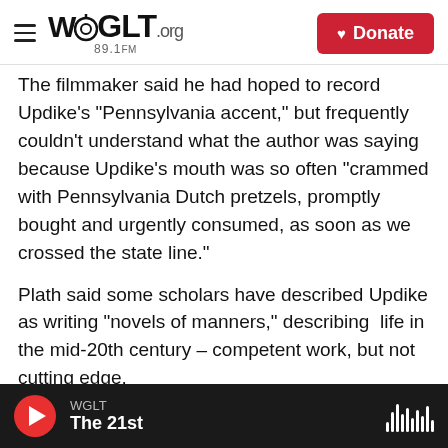WGLT.org 89.1FM — Donate
The filmmaker said he had hoped to record Updike's "Pennsylvania accent," but frequently couldn't understand what the author was saying because Updike's mouth was so often "crammed with Pennsylvania Dutch pretzels, promptly bought and urgently consumed, as soon as we crossed the state line."
Plath said some scholars have described Updike as writing "novels of manners," describing life in the mid-20th century – competent work, but not cutting edge.
"I would beg to differ," Plath said. "I think Updike
WGLT — The 21st